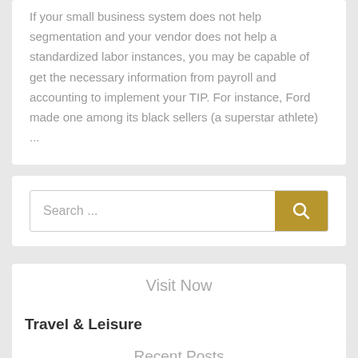If your small business system does not help segmentation and your vendor does not help a standardized labor instances, you may be capable of get the necessary information from payroll and accounting to implement your TIP. For instance, Ford made one among its black sellers (a superstar athlete) ...
Search ...
Visit Now
Travel & Leisure
Recent Posts